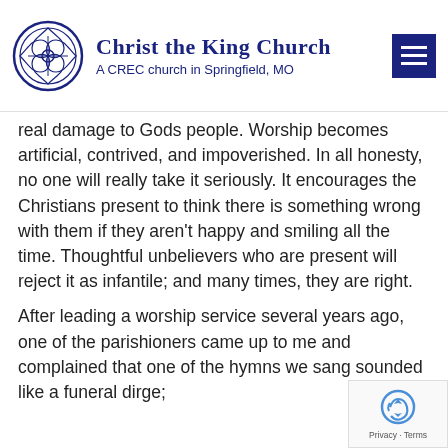Christ the King Church — A CREC church in Springfield, MO
real damage to Gods people. Worship becomes artificial, contrived, and impoverished. In all honesty, no one will really take it seriously. It encourages the Christians present to think there is something wrong with them if they aren't happy and smiling all the time. Thoughtful unbelievers who are present will reject it as infantile; and many times, they are right.
After leading a worship service several years ago, one of the parishioners came up to me and complained that one of the hymns we sang sounded like a funeral dirge;